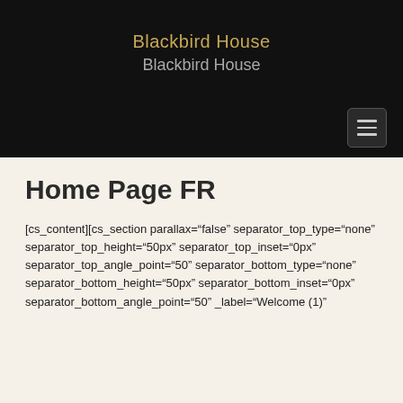Blackbird House
Blackbird House
Home Page FR
[cs_content][cs_section parallax="false" separator_top_type="none" separator_top_height="50px" separator_top_inset="0px" separator_top_angle_point="50" separator_bottom_type="none" separator_bottom_height="50px" separator_bottom_inset="0px" separator_bottom_angle_point="50" _label="Welcome (1)"